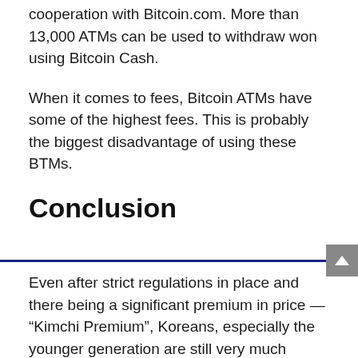cooperation with Bitcoin.com. More than 13,000 ATMs can be used to withdraw won using Bitcoin Cash.
When it comes to fees, Bitcoin ATMs have some of the highest fees. This is probably the biggest disadvantage of using these BTMs.
Conclusion
Even after strict regulations in place and there being a significant premium in price — “Kimchi Premium”, Koreans, especially the younger generation are still very much interested in